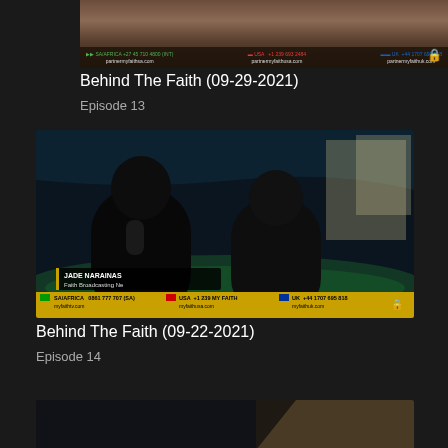[Figure (screenshot): Partial thumbnail of a TV broadcast with contact information bars showing SA/AFRICA, USA, and UK phone numbers and websites for partner.myfaith]
Behind The Faith (09-29-2021)
Episode 13
[Figure (screenshot): Thumbnail showing two people (man holding microphone and woman) standing in a dark arena/stadium setting. Lower-third bar shows JADE NARAINAS, Faith Broadcasting Ne. Contact bar at bottom shows SA/AFRICA 0861 777 707, USA +1 239 MY FAITH, UK +44 1707 695 818 with websites myfaithtv.com, myfaithusa.com, myfaithuk.com]
Behind The Faith (09-22-2021)
Episode 14
[Figure (screenshot): Partial thumbnail of another episode, dark background with light in upper right area]